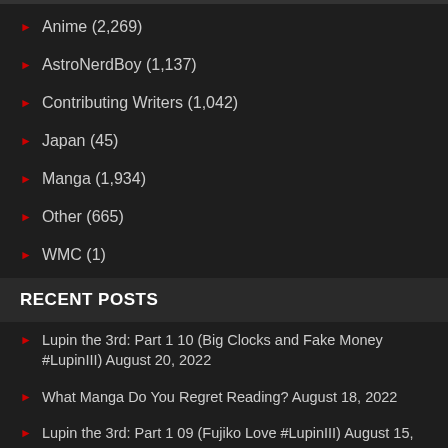Anime (2,269)
AstroNerdBoy (1,137)
Contributing Writers (1,042)
Japan (45)
Manga (1,934)
Other (665)
WMC (1)
RECENT POSTS
Lupin the 3rd: Part 1 10 (Big Clocks and Fake Money #LupinIII) August 20, 2022
What Manga Do You Regret Reading? August 18, 2022
Lupin the 3rd: Part 1 09 (Fujiko Love #LupinIII) August 15, 2022
Tonikaku Cawaii Chapter 199 (Inventing the Love Letter) #Tonikawa August 13, 2022
FX's “Shōgun” to Air in 2023 August 12, 2022